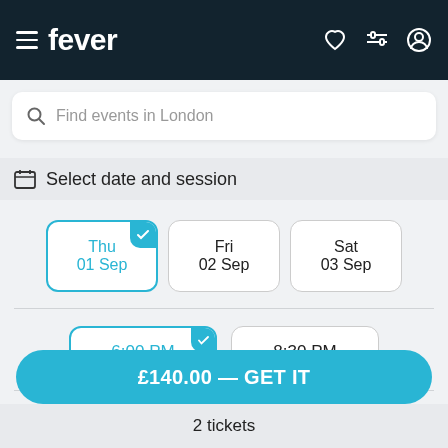fever
Find events in London
Select date and session
Thu 01 Sep
Fri 02 Sep
Sat 03 Sep
6:00 PM
8:30 PM
Standard Ticket for £70.00
£140.00 — GET IT
2 tickets